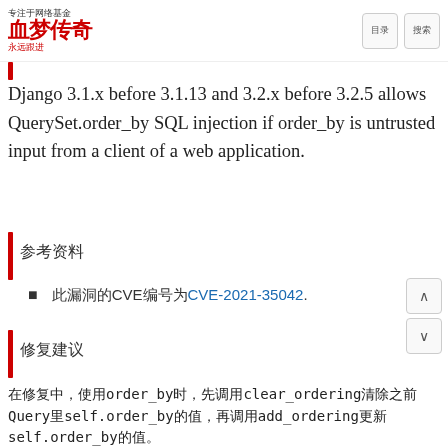血梦传奇 专注于网络基金 永远跟进
Django 3.1.x before 3.1.13 and 3.2.x before 3.2.5 allows QuerySet.order_by SQL injection if order_by is untrusted input from a client of a web application.
参考资料
此漏洞的CVE编号为CVE-2021-35042.
修复建议
在修复中，使用order_by时，先调用clear_ordering清除之前Query里self.order_by的值，再调用add_ordering更新self.order_by的值。